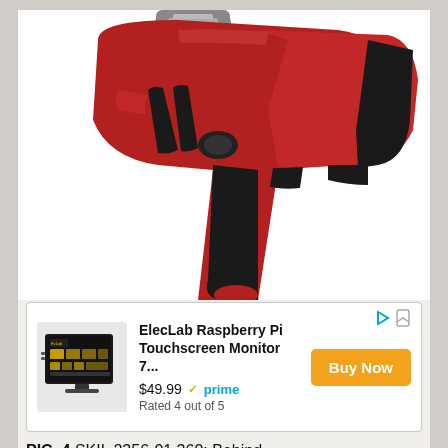[Figure (photo): Red and black cordless screwdriver/drill, SKIL brand, shown at an angle with the handle and body visible. The tool has a red body with black rubber grip accents.]
[Figure (screenshot): Amazon advertisement box showing ElecLab Raspberry Pi Touchscreen Monitor 7 inch product. Price $49.99 with Prime badge. Rated 4 out of 5. Orange Buy Now button. Product thumbnail showing a black touchscreen device with yellow UI. Play and bookmark icons in top right corner.]
PIC. 4  SKIL 2356-01 360:  Behind